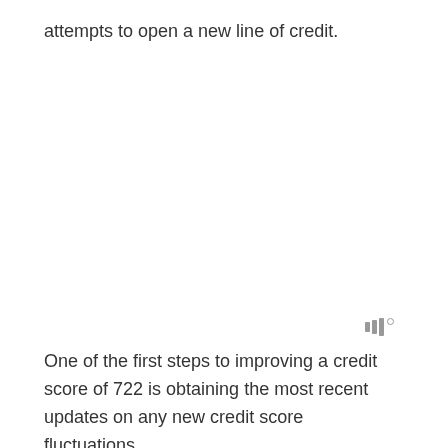attempts to open a new line of credit.
[Figure (other): Small signal bar icon with a degree symbol, resembling a mobile signal or audio indicator]
One of the first steps to improving a credit score of 722 is obtaining the most recent updates on any new credit score fluctuations.